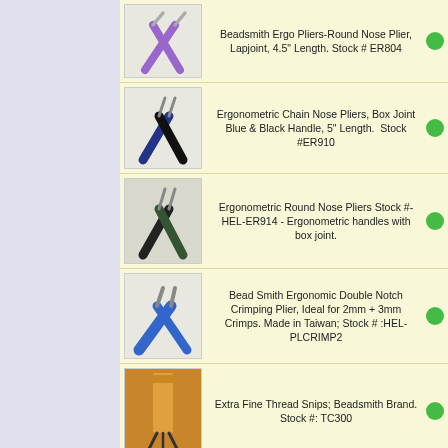Beadsmith Ergo Pliers-Round Nose Plier, Lapjoint, 4.5" Length. Stock # ER804
Ergonometric Chain Nose Pliers, Box Joint Blue & Black Handle, 5" Length. Stock #ER910
Ergonometric Round Nose Pliers Stock #- HEL-ER914 - Ergonometric handles with box joint.
Bead Smith Ergonomic Double Notch Crimping Plier, Ideal for 2mm + 3mm Crimps. Made in Taiwan; Stock # :HEL-PLCRIMP2
Extra Fine Thread Snips; Beadsmith Brand. Stock #: TC300
EZCUT Vanadium Steel Side Cutt...